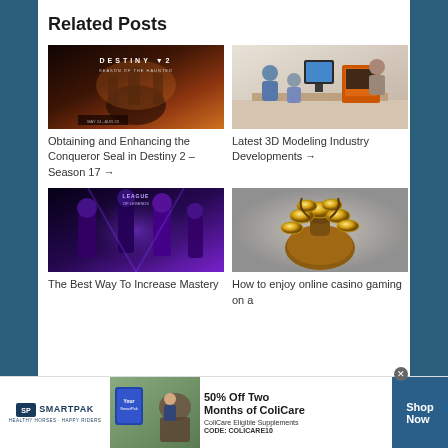Related Posts
[Figure (photo): Destiny 2 Season of the Haunted game promotional image with dark orange/red atmospheric background]
[Figure (photo): People working around a 3D printer in an office/workshop setting]
Obtaining and Enhancing the Conqueror Seal in Destiny 2 – Season 17 →
Latest 3D Modeling Industry Developments →
[Figure (photo): League of Legends mobile game characters with purple/blue dramatic lighting]
[Figure (photo): Gold coins spilling from a bag on grey background - casino related image]
The Best Way To Increase Mastery
How to enjoy online casino gaming on a
[Figure (infographic): SmartPak advertisement banner: 50% Off Two Months of ColiCare, ColiCare Eligible Supplements, CODE: COLICARE10, Shop Now button]